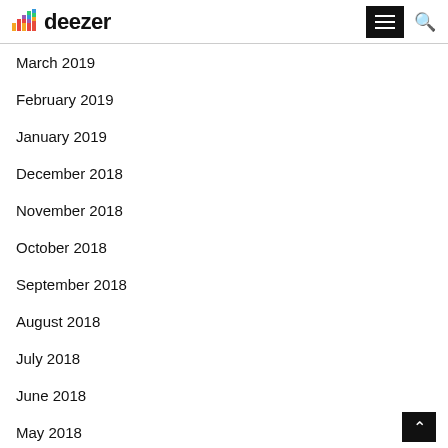deezer
March 2019
February 2019
January 2019
December 2018
November 2018
October 2018
September 2018
August 2018
July 2018
June 2018
May 2018
April 2018
March 2018
February 2018